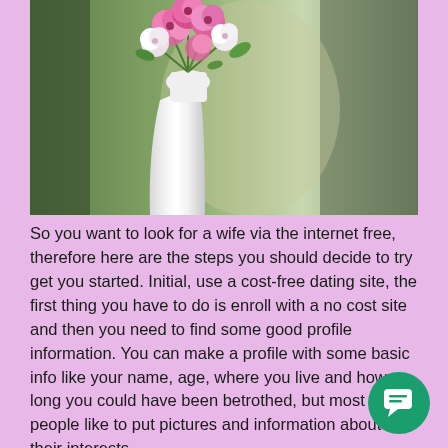[Figure (photo): A person in a white dress holding a bouquet of pink and white flowers, with a blurred green background.]
So you want to look for a wife via the internet free, therefore here are the steps you should decide to try get you started. Initial, use a cost-free dating site, the first thing you have to do is enroll with a no cost site and then you need to find some good profile information. You can make a profile with some basic info like your name, age, where you live and how long you could have been betrothed, but most people like to put pictures and information about all their interests.
A common sort of profile can be when you are thinking about